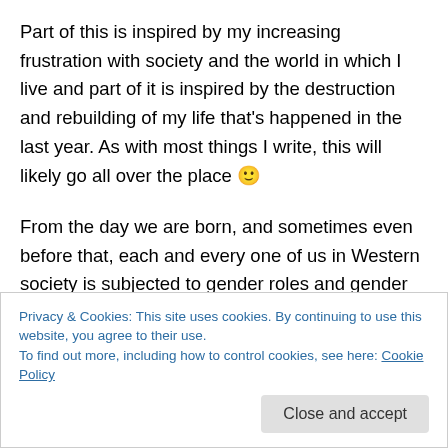Part of this is inspired by my increasing frustration with society and the world in which I live and part of it is inspired by the destruction and rebuilding of my life that's happened in the last year. As with most things I write, this will likely go all over the place 🙂
From the day we are born, and sometimes even before that, each and every one of us in Western society is subjected to gender roles and gender stereotypes. As soon as a woman finds out that she's pregnant, everyone asks her about the expected gender of the child. If the
Privacy & Cookies: This site uses cookies. By continuing to use this website, you agree to their use.
To find out more, including how to control cookies, see here: Cookie Policy
Close and accept